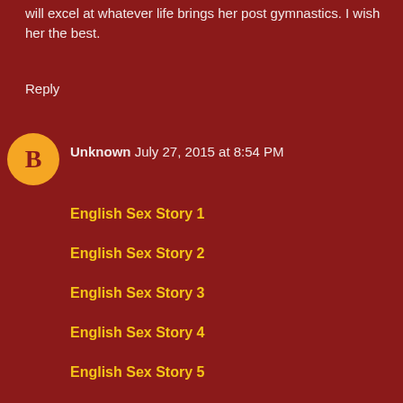will excel at whatever life brings her post gymnastics. I wish her the best.
Reply
Unknown July 27, 2015 at 8:54 PM
English Sex Story 1
English Sex Story 2
English Sex Story 3
English Sex Story 4
English Sex Story 5
English Sex Story 6
English Sex Story 7
English Sex Story 8